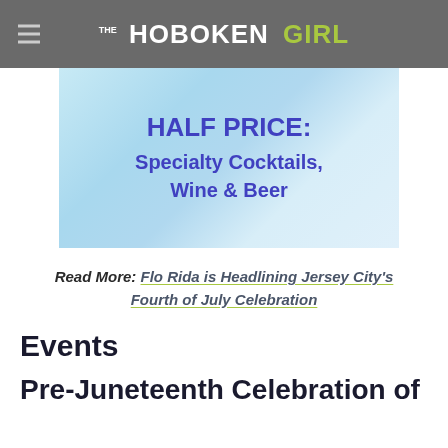THE HOBOKEN GIRL
[Figure (other): Promotional image with light blue watercolor background showing text 'HALF PRICE: Specialty Cocktails, Wine & Beer' in purple/blue bold lettering]
Read More: Flo Rida is Headlining Jersey City's Fourth of July Celebration
Events
Pre-Juneteenth Celebration of